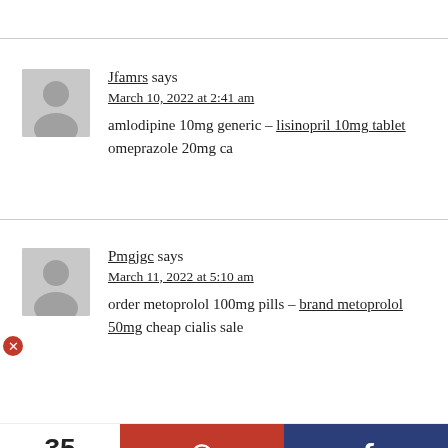Jfamrs says
March 10, 2022 at 2:41 am
amlodipine 10mg generic – lisinopril 10mg tablet omeprazole 20mg ca
Pmgjgc says
March 11, 2022 at 5:10 am
order metoprolol 100mg pills – brand metoprolol 50mg cheap cialis sale
35 SHARES